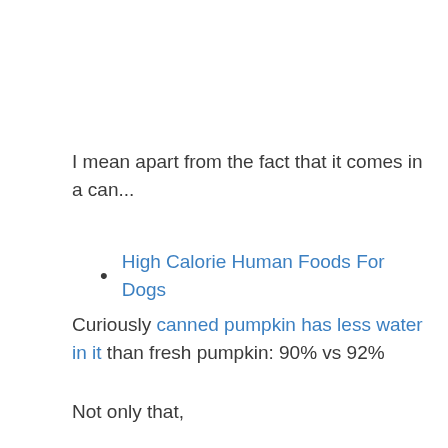I mean apart from the fact that it comes in a can...
High Calorie Human Foods For Dogs
Curiously canned pumpkin has less water in it than fresh pumpkin: 90% vs 92%
Not only that,